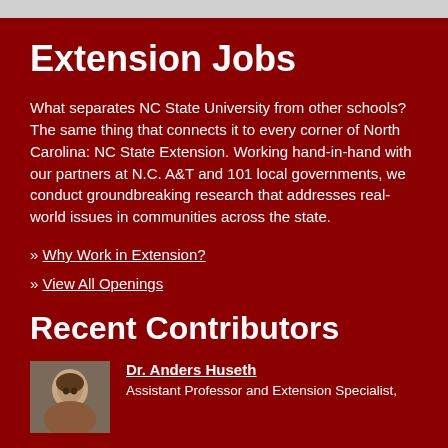Extension Jobs
What separates NC State University from other schools? The same thing that connects it to every corner of North Carolina: NC State Extension. Working hand-in-hand with our partners at N.C. A&T and 101 local governments, we conduct groundbreaking research that addresses real-world issues in communities across the state.
» Why Work in Extension?
» View All Openings
Recent Contributors
[Figure (photo): Headshot photo of Dr. Anders Huseth]
Dr. Anders Huseth
Assistant Professor and Extension Specialist,